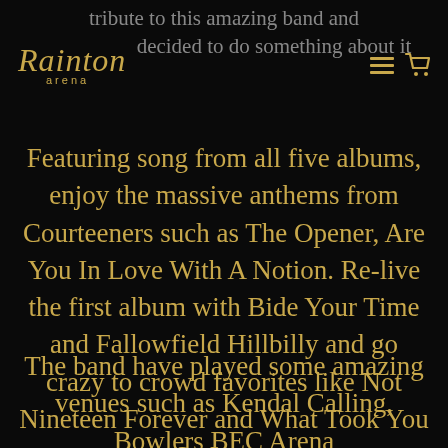tribute to this amazing band and decided to do something about it
[Figure (logo): Rainton Arena logo in gold italic script with 'arena' subtitle]
Featuring song from all five albums, enjoy the massive anthems from Courteeners such as The Opener, Are You In Love With A Notion. Re-live the first album with Bide Your Time and Fallowfield Hillbilly and go crazy to crowd favorites like Not Nineteen Forever and What Took You So Long.
The band have played some amazing venues such as Kendal Calling, Bowlers BEC Arena